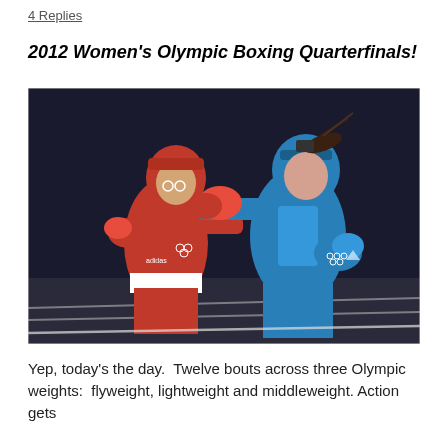4 Replies
2012 Women's Olympic Boxing Quarterfinals!
[Figure (photo): Two female boxers competing in the 2012 Olympics. The boxer on the left wears a red helmet and red uniform with Olympic rings logo; the boxer on the right wears a blue helmet and blue uniform with Olympic rings on gloves. Both wear protective headgear and boxing gloves. The blue boxer is throwing a punch at the red boxer.]
Yep, today's the day.  Twelve bouts across three Olympic weights:  flyweight, lightweight and middleweight. Action gets